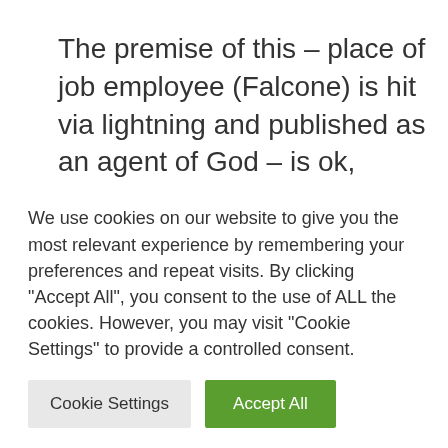The premise of this – place of job employee (Falcone) is hit via lightning and published as an agent of God – is ok, albeit suffused with gags and characters that really feel like comedian leftovers from Monty Python's Life of Brian and Bedazzled. As a small-town place of business comedy, it has candy moments, but additionally an excessive amount of lifeless time. However, what in
We use cookies on our website to give you the most relevant experience by remembering your preferences and repeat visits. By clicking "Accept All", you consent to the use of ALL the cookies. However, you may visit "Cookie Settings" to provide a controlled consent.